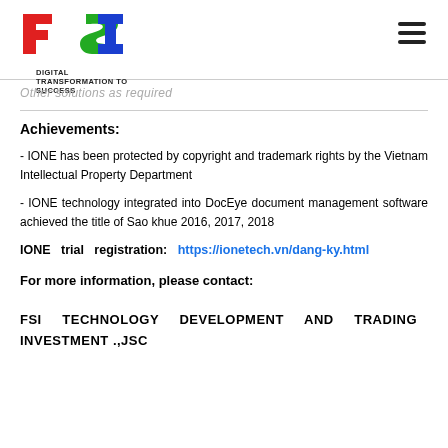FSI DIGITAL TRANSFORMATION TO SUCCESS
Other solutions as required
Achievements:
- IONE has been protected by copyright and trademark rights by the Vietnam Intellectual Property Department
- IONE technology integrated into DocEye document management software achieved the title of Sao khue 2016, 2017, 2018
IONE trial registration: https://ionetech.vn/dang-ky.html
For more information, please contact:
FSI TECHNOLOGY DEVELOPMENT AND TRADING INVESTMENT .,JSC